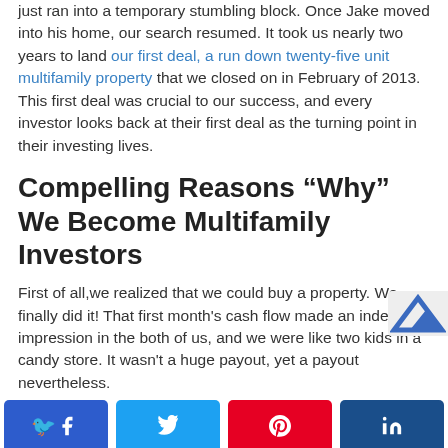just ran into a temporary stumbling block. Once Jake moved into his home, our search resumed. It took us nearly two years to land our first deal, a run down twenty-five unit multifamily property that we closed on in February of 2013. This first deal was crucial to our success, and every investor looks back at their first deal as the turning point in their investing lives.
Compelling Reasons “Why” We Become Multifamily Investors
First of all,we realized that we could buy a property. We finally did it! That first month's cash flow made an indelible impression in the both of us, and we were like two kids in a candy store. It wasn't a huge payout, yet a payout nevertheless.